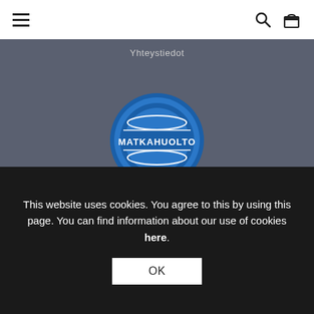Hamburger menu, search icon, bag icon
Yhteystiedot
[Figure (logo): Matkahuolto logo — circular blue emblem with two concentric rings and the text MATKAHUOLTO in white on a blue rectangle across the center]
Address
FourSeasons Scandinavian design shop
This website uses cookies. You agree to this by using this page. You can find information about our use of cookies here.